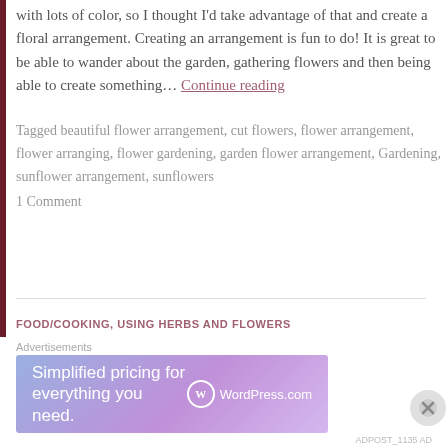with lots of color, so I thought I'd take advantage of that and create a floral arrangement. Creating an arrangement is fun to do! It is great to be able to wander about the garden, gathering flowers and then being able to create something… Continue reading
Tagged beautiful flower arrangement, cut flowers, flower arrangement, flower arranging, flower gardening, garden flower arrangement, Gardening, sunflower arrangement, sunflowers
1 Comment
FOOD/COOKING, USING HERBS AND FLOWERS
[Figure (screenshot): WordPress.com advertisement banner: 'Simplified pricing for everything you need.' with WordPress.com logo]